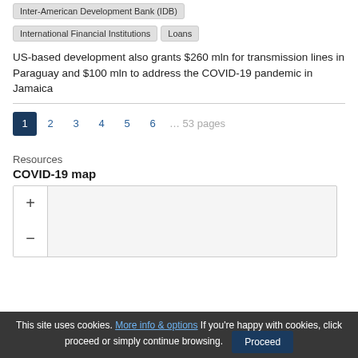Inter-American Development Bank (IDB)
International Financial Institutions
Loans
US-based development also grants $260 mln for transmission lines in Paraguay and $100 mln to address the COVID-19 pandemic in Jamaica
1 2 3 4 5 6 … 53 pages
Resources
COVID-19 map
[Figure (map): COVID-19 map with zoom in (+) and zoom out (-) controls on the left side]
This site uses cookies. More info & options If you're happy with cookies, click proceed or simply continue browsing. Proceed